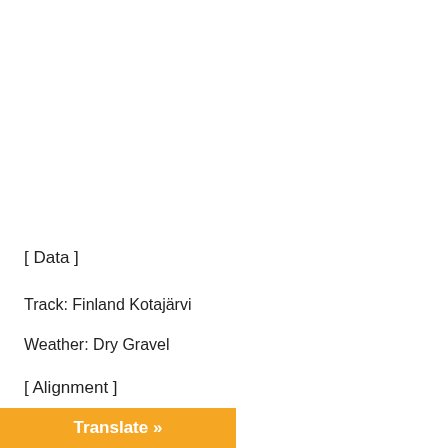[ Data ]
Track: Finland Kotajärvi
Weather: Dry Gravel
[ Alignment ]
(Front)Toe Angle: -0.20
Translate »